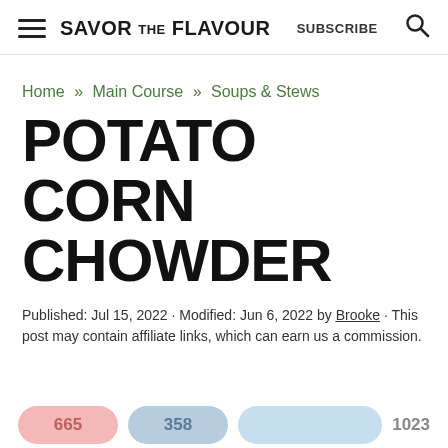SAVOR THE FLAVOUR   SUBSCRIBE
Home » Main Course » Soups & Stews
POTATO CORN CHOWDER
Published: Jul 15, 2022 · Modified: Jun 6, 2022 by Brooke · This post may contain affiliate links, which can earn us a commission.
665   358   1023